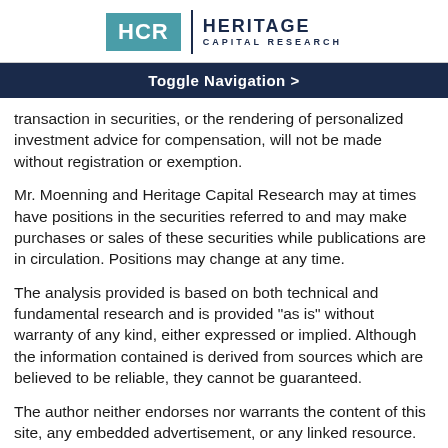[Figure (logo): Heritage Capital Research logo with HCR in teal box and company name in dark navy]
Toggle Navigation >
transaction in securities, or the rendering of personalized investment advice for compensation, will not be made without registration or exemption.
Mr. Moenning and Heritage Capital Research may at times have positions in the securities referred to and may make purchases or sales of these securities while publications are in circulation. Positions may change at any time.
The analysis provided is based on both technical and fundamental research and is provided "as is" without warranty of any kind, either expressed or implied. Although the information contained is derived from sources which are believed to be reliable, they cannot be guaranteed.
The author neither endorses nor warrants the content of this site, any embedded advertisement, or any linked resource. The author or his managed funds may hold either long or short